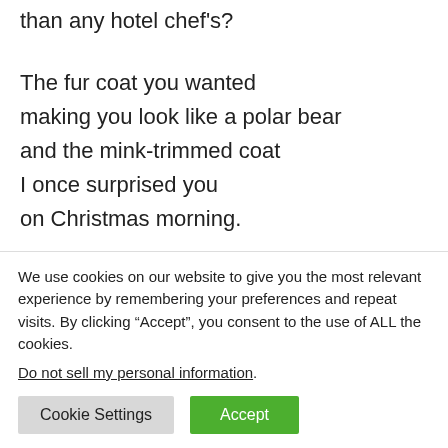than any hotel chef's?
The fur coat you wanted
making you look like a polar bear
and the mink-trimmed coat
I once surprised you
on Christmas morning.
Mama, how you said “importment”
for important
We use cookies on our website to give you the most relevant experience by remembering your preferences and repeat visits. By clicking “Accept”, you consent to the use of ALL the cookies. Do not sell my personal information.
Cookie Settings
Accept